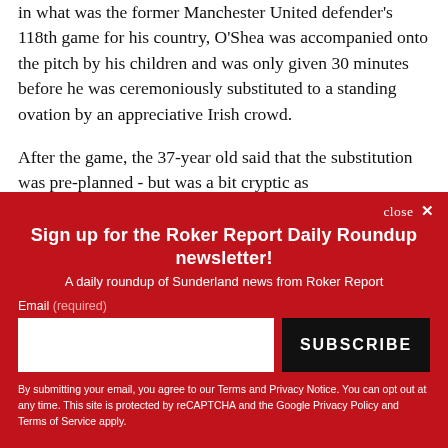in what was the former Manchester United defender's 118th game for his country, O'Shea was accompanied onto the pitch by his children and was only given 30 minutes before he was ceremoniously substituted to a standing ovation by an appreciative Irish crowd.

After the game, the 37-year old said that the substitution was pre-planned - but was a bit cryptic as
close ×
Sign up for the Roker Report Daily Roundup newsletter!
A daily roundup of Sunderland news from Roker Report
Email (required)
[email input] [SUBSCRIBE button]
By submitting your email, you agree to our Terms and Privacy Notice. You can opt out at any time. This site is protected by reCAPTCHA and the Google Privacy Policy and Terms of Service apply.